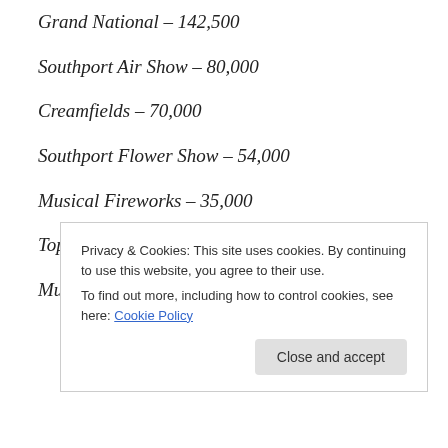Grand National – 142,500
Southport Air Show – 80,000
Creamfields – 70,000
Southport Flower Show – 54,000
Musical Fireworks – 35,000
Top Free Attractions
Museum of Liverpool – 747,000
Privacy & Cookies: This site uses cookies. By continuing to use this website, you agree to their use.
To find out more, including how to control cookies, see here: Cookie Policy